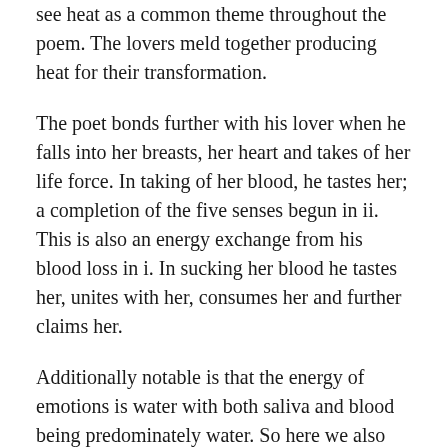see heat as a common theme throughout the poem. The lovers meld together producing heat for their transformation.
The poet bonds further with his lover when he falls into her breasts, her heart and takes of her life force. In taking of her blood, he tastes her; a completion of the five senses begun in ii. This is also an energy exchange from his blood loss in i. In sucking her blood he tastes her, unites with her, consumes her and further claims her.
Additionally notable is that the energy of emotions is water with both saliva and blood being predominately water. So here we also see the emotional connection developing between the two lovers. Perhaps this is also why the tone and structure are softened here: the two are uniting, melding into one another and connecting emotionally.
In iii the Divine Union between lovers intensifies as they